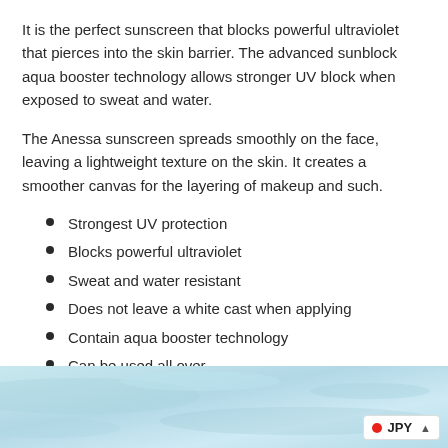It is the perfect sunscreen that blocks powerful ultraviolet that pierces into the skin barrier. The advanced sunblock aqua booster technology allows stronger UV block when exposed to sweat and water.
The Anessa sunscreen spreads smoothly on the face, leaving a lightweight texture on the skin. It creates a smoother canvas for the layering of makeup and such.
Strongest UV protection
Blocks powerful ultraviolet
Sweat and water resistant
Does not leave a white cast when applying
Contain aqua booster technology
Can be used all over
60ml or 20ml
[Figure (photo): Light blue water/aqua background image at the bottom of the page with a JPY currency badge in the bottom right corner]